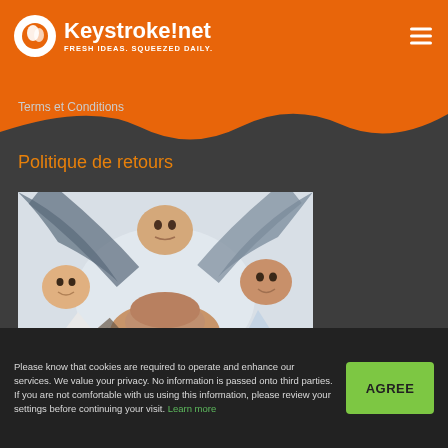Keystroke!net — FRESH IDEAS. SQUEEZED DAILY.
Terms et Conditions
Politique de retours
[Figure (photo): Group of five people looking down into the camera with hands stacked together in the center, team unity concept]
Please know that cookies are required to operate and enhance our services. We value your privacy. No information is passed onto third parties. If you are not comfortable with us using this information, please review your settings before continuing your visit. Learn more